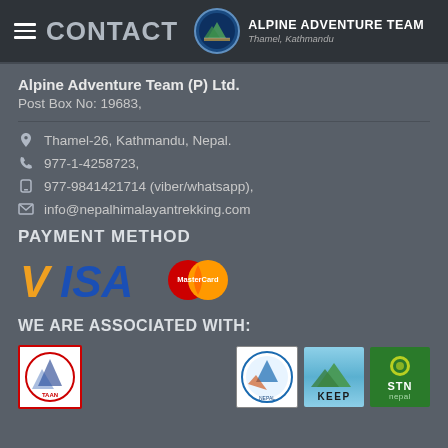CONTACT | Alpine Adventure Team - Thamel, Kathmandu
Alpine Adventure Team (P) Ltd.
Post Box No: 19683,
Thamel-26, Kathmandu, Nepal.
977-1-4258723,
977-9841421714 (viber/whatsapp),
info@nepalhimalayantrekking.com
PAYMENT METHOD
[Figure (logo): VISA and MasterCard payment logos]
WE ARE ASSOCIATED WITH:
[Figure (logo): Association logos including TAAN, KEEP, STN Nepal]